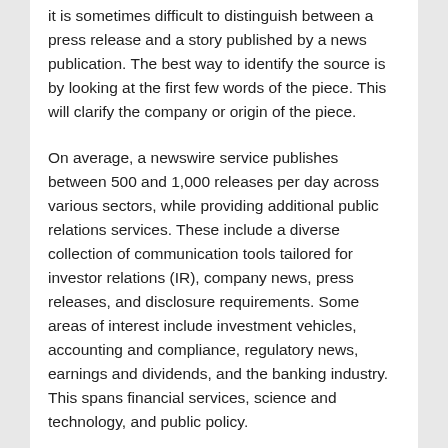it is sometimes difficult to distinguish between a press release and a story published by a news publication. The best way to identify the source is by looking at the first few words of the piece. This will clarify the company or origin of the piece.
On average, a newswire service publishes between 500 and 1,000 releases per day across various sectors, while providing additional public relations services. These include a diverse collection of communication tools tailored for investor relations (IR), company news, press releases, and disclosure requirements. Some areas of interest include investment vehicles, accounting and compliance, regulatory news, earnings and dividends, and the banking industry. This spans financial services, science and technology, and public policy.
Pros and Cons of Using a Press Release
Writing a press release is a great way to create buzz around products, partnerships, or any noteworthy news. It nudges journalists and reporters to cover the story and